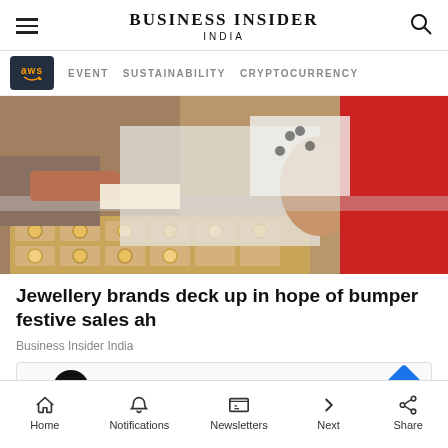BUSINESS INSIDER INDIA
[Figure (photo): People shopping for gold bangles and jewellery at a store counter, with a young girl smiling in the foreground and a woman in red on the right.]
Jewellery brands deck up in hope of bumper festive sales ah
Business Insider India
[Figure (screenshot): Advertisement banner showing In-store shopping with a play button, infinity logo, checkmark, and navigation arrow icon.]